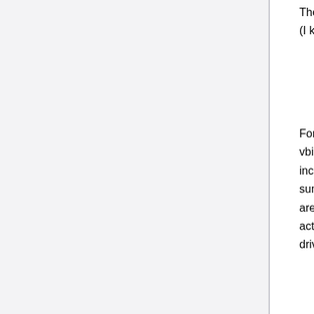There are sites that have video bios roms on their website. (I know of this one for nvidia cards: [1])
For Intel onboard graphics you can download the vbios(vga bios) from Intel's download section. The vbios is included with some versions of the graphics driver. The summary will say something like "NOTE:These materials are intended for use by developers.Includes VBIOS". The actual vbios file is the *.dat file included with the graphics driver.
Extracting from the system (if everything else fails)
However you might be able to retrieve your on-board video bios with Linux as well.
Boot up a machine with a